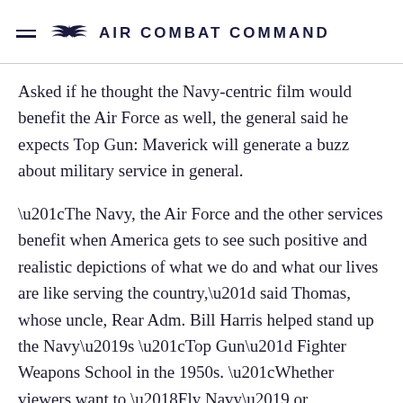AIR COMBAT COMMAND
Asked if he thought the Navy-centric film would benefit the Air Force as well, the general said he expects Top Gun: Maverick will generate a buzz about military service in general.
“The Navy, the Air Force and the other services benefit when America gets to see such positive and realistic depictions of what we do and what our lives are like serving the country,” said Thomas, whose uncle, Rear Adm. Bill Harris helped stand up the Navy’s “Top Gun” Fighter Weapons School in the 1950s. “Whether viewers want to ‘Fly Navy’ or ‘Aim High’ we just want them to think about serving and the positive life and tremendous opportunities…